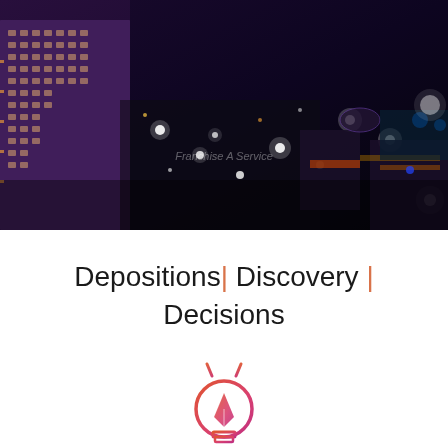[Figure (photo): Aerial night view of a city with illuminated buildings, streets, and lights. A tall hotel/casino building is prominent on the left with purple-toned lighting. City streets and other lit structures visible in background. Text 'Franchise A Service' faintly visible.]
Depositions| Discovery | Decisions
[Figure (logo): A stylized lightbulb icon with a fountain pen nib inside, rendered in a gradient from orange-red to pink-purple. Ray lines emanate from top of the bulb.]